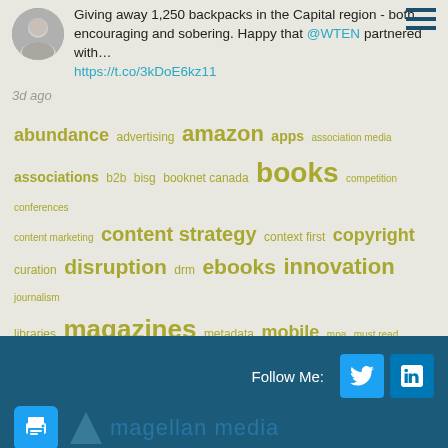Giving away 1,250 backpacks in the Capital region - both encouraging and sobering. Happy that @WTEN partnered with… https://t.co/3kDoE6kz11
3d ago
[Figure (infographic): Tag cloud with publishing and media related keywords in olive/yellow-green color at varying sizes indicating frequency. Keywords include: abundance, advertising, amazon, apps, association media, associations, b2b, bisg, booknet canada, books, competition, conferences, content marketing, content strategy, context first, copyright, curation, disruption, drm, ebooks, innovation, journalism, libraries, magazines, metadata, mobile, mpa, must read, newspapers, niche, paid content, patry, piracy, pod, presentations, price, private equity, strategy, subscription, supply chain, toc, twitter, venture capital, workflow, xml]
Follow Me:
[Figure (logo): Magellan Media logo with triangle icon and text 'magellan media' in blue on dark teal background. Also shows Twitter and LinkedIn social buttons, and a print button.]